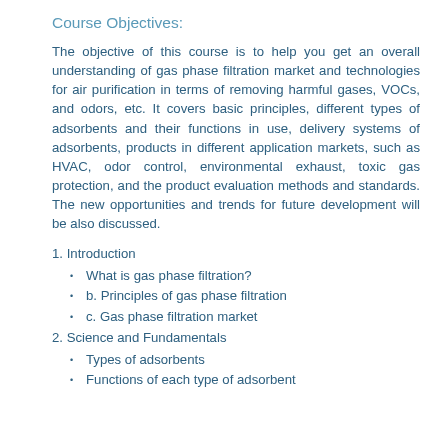Course Objectives:
The objective of this course is to help you get an overall understanding of gas phase filtration market and technologies for air purification in terms of removing harmful gases, VOCs, and odors, etc. It covers basic principles, different types of adsorbents and their functions in use, delivery systems of adsorbents, products in different application markets, such as HVAC, odor control, environmental exhaust, toxic gas protection, and the product evaluation methods and standards. The new opportunities and trends for future development will be also discussed.
1. Introduction
What is gas phase filtration?
b. Principles of gas phase filtration
c. Gas phase filtration market
2. Science and Fundamentals
Types of adsorbents
Functions of each type of adsorbent